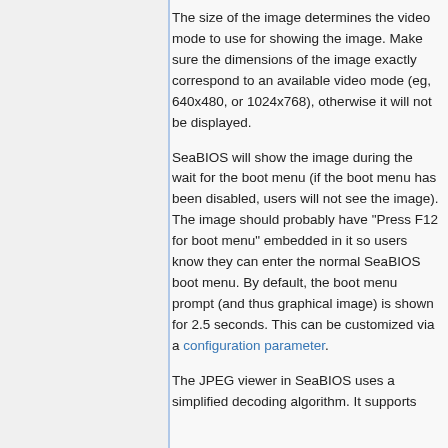The size of the image determines the video mode to use for showing the image. Make sure the dimensions of the image exactly correspond to an available video mode (eg, 640x480, or 1024x768), otherwise it will not be displayed.
SeaBIOS will show the image during the wait for the boot menu (if the boot menu has been disabled, users will not see the image). The image should probably have "Press F12 for boot menu" embedded in it so users know they can enter the normal SeaBIOS boot menu. By default, the boot menu prompt (and thus graphical image) is shown for 2.5 seconds. This can be customized via a configuration parameter.
The JPEG viewer in SeaBIOS uses a simplified decoding algorithm. It supports